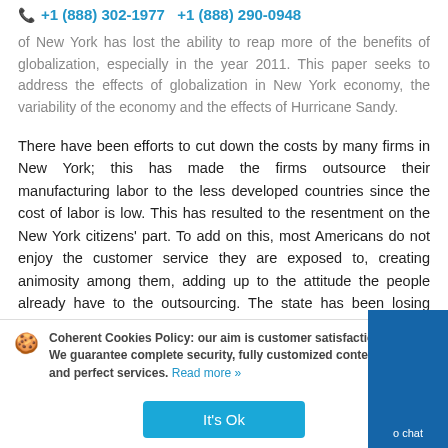+1 (888) 302-1977  +1 (888) 290-0948
of New York has lost the ability to reap more of the benefits of globalization, especially in the year 2011. This paper seeks to address the effects of globalization in New York economy, the variability of the economy and the effects of Hurricane Sandy.
There have been efforts to cut down the costs by many firms in New York; this has made the firms outsource their manufacturing labor to the less developed countries since the cost of labor is low. This has resulted to the resentment on the New York citizens' part. To add on this, most Americans do not enjoy the customer service they are exposed to, creating animosity among them, adding up to the attitude the people already have to the outsourcing. The state has been losing more manufacturing jobs than
Coherent Cookies Policy: our aim is customer satisfaction! We guarantee complete security, fully customized content and perfect services. Read more »